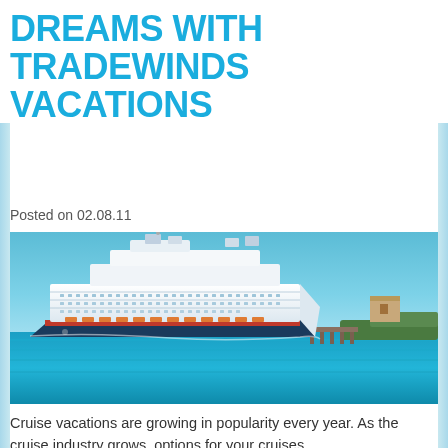DREAMS WITH TRADEWINDS VACATIONS
Posted on 02.08.11
[Figure (photo): A large white cruise ship docked near a tropical island with clear blue-turquoise water and blue sky in the background.]
Cruise vacations are growing in popularity every year. As the cruise industry grows, options for your cruises